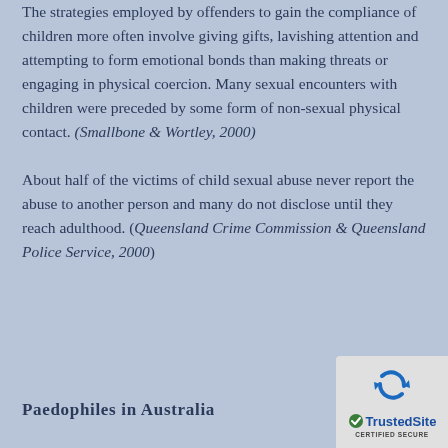The strategies employed by offenders to gain the compliance of children more often involve giving gifts, lavishing attention and attempting to form emotional bonds than making threats or engaging in physical coercion. Many sexual encounters with children were preceded by some form of non-sexual physical contact. (Smallbone & Wortley, 2000)
About half of the victims of child sexual abuse never report the abuse to another person and many do not disclose until they reach adulthood. (Queensland Crime Commission & Queensland Police Service, 2000)
Paedophiles in Australia
[Figure (logo): TrustedSite CERTIFIED SECURE badge with reCAPTCHA-style icon and checkmark]